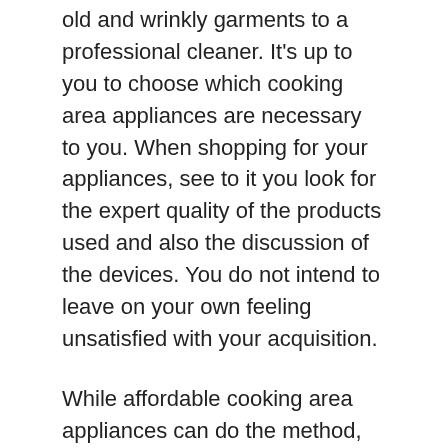old and wrinkly garments to a professional cleaner. It's up to you to choose which cooking area appliances are necessary to you. When shopping for your appliances, see to it you look for the expert quality of the products used and also the discussion of the devices. You do not intend to leave on your own feeling unsatisfied with your acquisition.
While affordable cooking area appliances can do the method, high-end variations can be costly. For example, you might choose a cost-effective version if you're short on cash. However if you intend to get the very best worth for your cash, consider investing in higher-end appliances. Although they could not be as expensive as their lower-end counterparts, they will last much longer and use higher quality. So do not be afraid to spend a little much more – a quality appliance can make all the